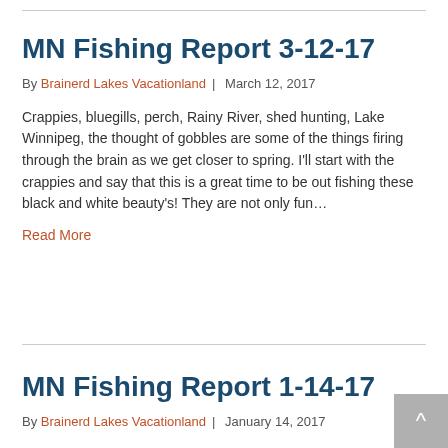MN Fishing Report 3-12-17
By Brainerd Lakes Vacationland | March 12, 2017
Crappies, bluegills, perch, Rainy River, shed hunting, Lake Winnipeg, the thought of gobbles are some of the things firing through the brain as we get closer to spring. I'll start with the crappies and say that this is a great time to be out fishing these black and white beauty's! They are not only fun…
Read More
MN Fishing Report 1-14-17
By Brainerd Lakes Vacationland | January 14, 2017